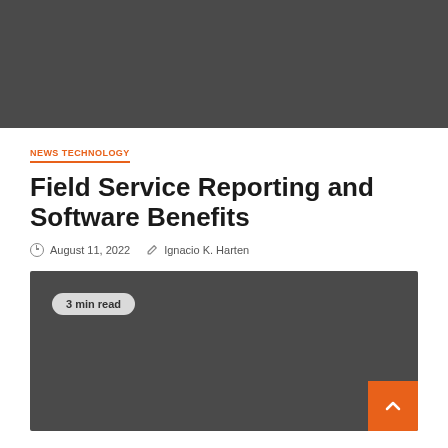[Figure (photo): Dark gray rectangular header image area at top of page]
NEWS TECHNOLOGY
Field Service Reporting and Software Benefits
August 11, 2022   Ignacio K. Harten
[Figure (photo): Dark gray image area with '3 min read' badge and orange scroll-to-top button in bottom right corner]